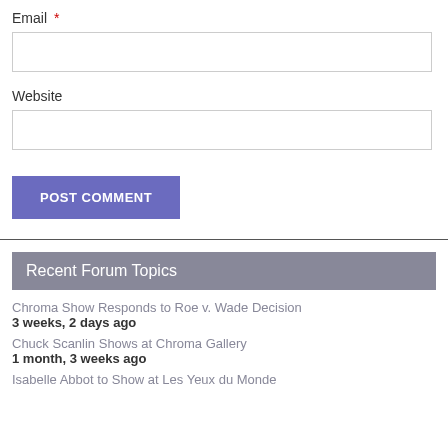Email *
Website
POST COMMENT
Recent Forum Topics
Chroma Show Responds to Roe v. Wade Decision
3 weeks, 2 days ago
Chuck Scanlin Shows at Chroma Gallery
1 month, 3 weeks ago
Isabelle Abbot to Show at Les Yeux du Monde